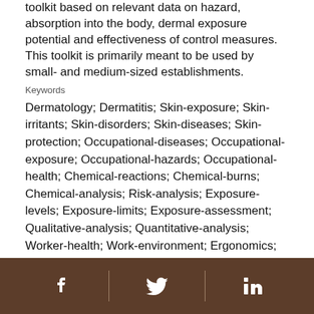toolkit based on relevant data on hazard, absorption into the body, dermal exposure potential and effectiveness of control measures. This toolkit is primarily meant to be used by small- and medium-sized establishments.
Keywords
Dermatology; Dermatitis; Skin-exposure; Skin-irritants; Skin-disorders; Skin-diseases; Skin-protection; Occupational-diseases; Occupational-exposure; Occupational-hazards; Occupational-health; Chemical-reactions; Chemical-burns; Chemical-analysis; Risk-analysis; Exposure-levels; Exposure-limits; Exposure-assessment; Qualitative-analysis; Quantitative-analysis; Worker-health; Work-environment; Ergonomics; Contact-dermatitis
Publication Date
[Figure (other): Footer bar with social media icons: Facebook, Twitter, LinkedIn on a brown background]